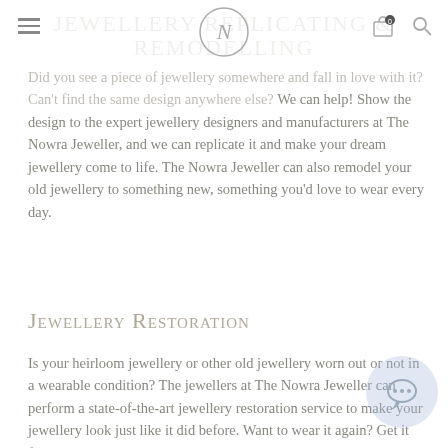Jewellery Replicating & Remodelling
[Figure (logo): Circular logo with stylized N initial for The Nowra Jeweller]
Did you see a piece of jewellery somewhere and fall in love with it? Can't find the same design anywhere else? We can help! Show the design to the expert jewellery designers and manufacturers at The Nowra Jeweller, and we can replicate it and make your dream jewellery come to life. The Nowra Jeweller can also remodel your old jewellery to something new, something you'd love to wear every day.
Jewellery Restoration
Is your heirloom jewellery or other old jewellery worn out or not in a wearable condition? The jewellers at The Nowra Jeweller can perform a state-of-the-art jewellery restoration service to make your jewellery look just like it did before. Want to wear it again? Get it fixed by us!
Book an appointment online or contact us for more information about our jewellery restoration, replication